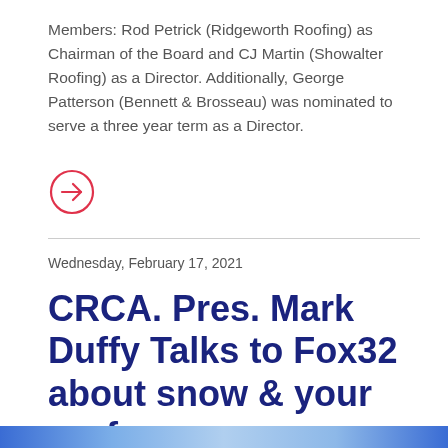Members: Rod Petrick (Ridgeworth Roofing) as Chairman of the Board and CJ Martin (Showalter Roofing) as a Director. Additionally, George Patterson (Bennett & Brosseau) was nominated to serve a three year term as a Director.
[Figure (other): Red circle arrow icon (right-pointing arrow inside a circle outline, in red)]
Wednesday, February 17, 2021
CRCA. Pres. Mark Duffy Talks to Fox32 about snow & your roof
[Figure (photo): Partial image strip at bottom of page, appears to be a blue-toned photo]